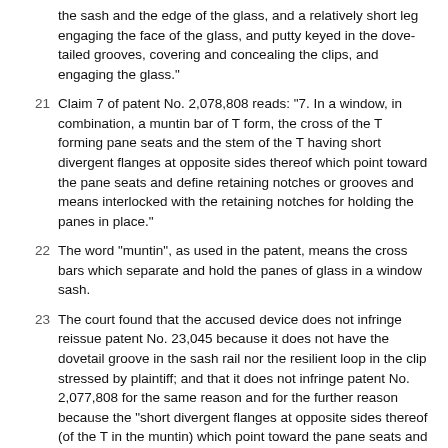the sash and the edge of the glass, and a relatively short leg engaging the face of the glass, and putty keyed in the dove-tailed grooves, covering and concealing the clips, and engaging the glass."
21  Claim 7 of patent No. 2,078,808 reads: "7. In a window, in combination, a muntin bar of T form, the cross of the T forming pane seats and the stem of the T having short divergent flanges at opposite sides thereof which point toward the pane seats and define retaining notches or grooves and means interlocked with the retaining notches for holding the panes in place."
22  The word "muntin", as used in the patent, means the cross bars which separate and hold the panes of glass in a window sash.
23  The court found that the accused device does not infringe reissue patent No. 23,045 because it does not have the dovetail groove in the sash rail nor the resilient loop in the clip stressed by plaintiff; and that it does not infringe patent No. 2,077,808 for the same reason and for the further reason because the "short divergent flanges at opposite sides thereof (of the T in the muntin) which point toward the pane seats and define retaining notches or grooves" are not present.